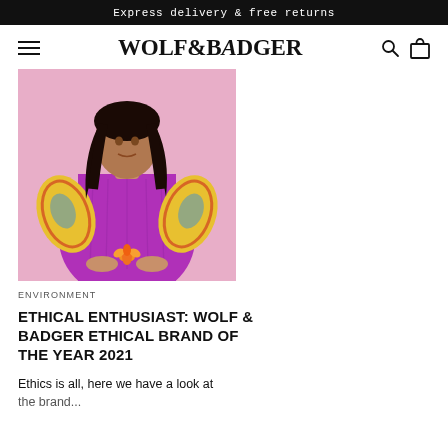Express delivery & free returns
WOLF & BADGER
[Figure (photo): A woman in a bright purple/magenta lace dress holding an orange flower, standing against a pink background, wearing colorful printed fabric on her arms.]
ENVIRONMENT
ETHICAL ENTHUSIAST: WOLF & BADGER ETHICAL BRAND OF THE YEAR 2021
Ethics is all, here we have a look at the brand...